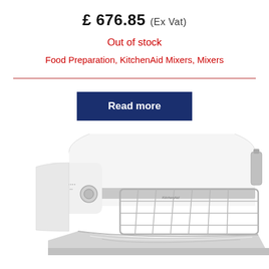£ 676.85 (Ex Vat)
Out of stock
Food Preparation, KitchenAid Mixers, Mixers
[Figure (other): Read more button — dark navy blue rectangular button with white bold text 'Read more']
[Figure (photo): Close-up photo of a white KitchenAid stand mixer with stainless steel bowl and wire cage guard attachment visible from the front]